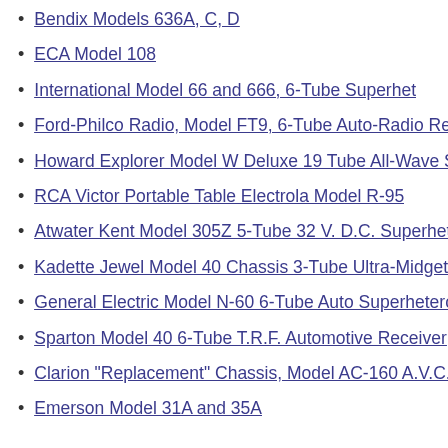Bendix Models 636A, C, D
ECA Model 108
International Model 66 and 666, 6-Tube Superhet
Ford-Philco Radio, Model FT9, 6-Tube Auto-Radio Recei…
Howard Explorer Model W Deluxe 19 Tube All-Wave Sup…
RCA Victor Portable Table Electrola Model R-95
Atwater Kent Model 305Z 5-Tube 32 V. D.C. Superhet
Kadette Jewel Model 40 Chassis 3-Tube Ultra-Midget Rec…
General Electric Model N-60 6-Tube Auto Superheterodyn…
Sparton Model 40 6-Tube T.R.F. Automotive Receiver
Clarion "Replacement" Chassis, Model AC-160 A.V.C. Su…
Emerson Model 31A and 35A…